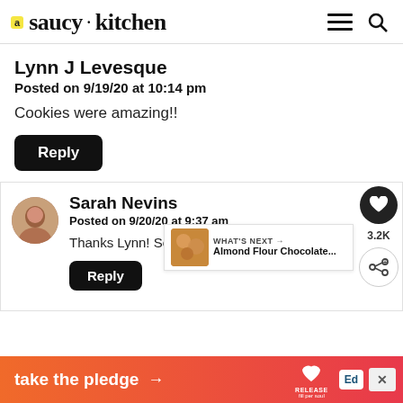saucy kitchen
Lynn J Levesque
Posted on 9/19/20 at 10:14 pm
Cookies were amazing!!
Reply
[Figure (photo): Avatar photo of Sarah Nevins]
Sarah Nevins
Posted on 9/20/20 at 9:37 am
Thanks Lynn! So glad you enjoyed them!
Reply
[Figure (photo): What's Next - Almond Flour Chocolate... thumbnail with cookie image]
take the pledge →